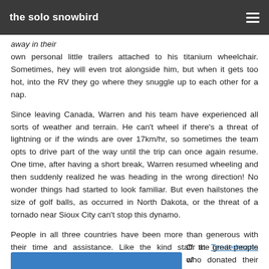the solo snowbird
away in their own personal little trailers attached to his titanium wheelchair. Sometimes, hey will even trot alongside him, but when it gets too hot, into the RV they go where they snuggle up to each other for a nap.
Since leaving Canada, Warren and his team have experienced all sorts of weather and terrain. He can't wheel if there's a threat of lightning or if the winds are over 17km/hr, so sometimes the team opts to drive part of the way until the trip can once again resume. One time, after having a short break, Warren resumed wheeling and then suddenly realized he was heading in the wrong direction! No wonder things had started to look familiar. But even hailstones the size of golf balls, as occurred in North Dakota, or the threat of a tornado near Sioux City can't stop this dynamo.
People in all three countries have been more than generous with their time and assistance. Like the kind staff at Tenderhearts Veterinary Clinic in North Platte, Nebraska who donated their services and gave Warren's furry family a check-up and clean bill of health.
Or the great people of